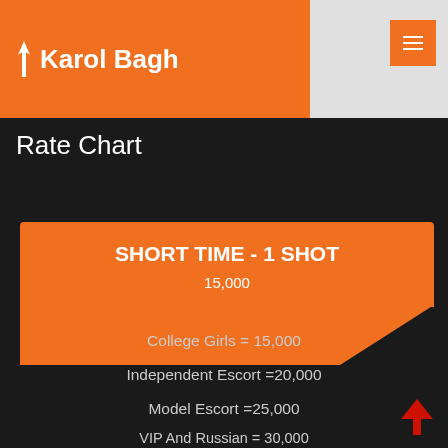Karol Bagh
Rate Chart
SHORT TIME - 1 SHOT
15,000
College Girls = 15,000
Independent Escort =20,000
Model Escort =25,000
VIP And Russian = 30,000